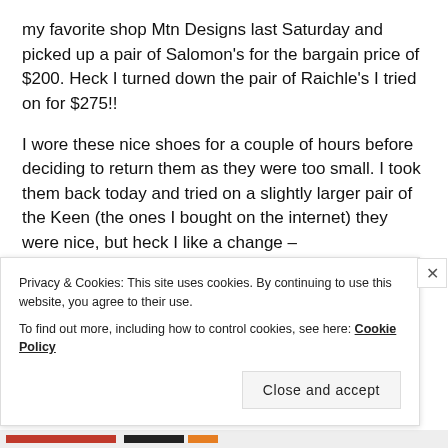my favorite shop Mtn Designs last Saturday and picked up a pair of Salomon's for the bargain price of $200. Heck I turned down the pair of Raichle's I tried on for $275!!
I wore these nice shoes for a couple of hours before deciding to return them as they were too small. I took them back today and tried on a slightly larger pair of the Keen (the ones I bought on the internet) they were nice, but heck I like a change –
I ended up with the next size up of the ones I had bought Saturday. The Salomon Elios GTX
Privacy & Cookies: This site uses cookies. By continuing to use this website, you agree to their use.
To find out more, including how to control cookies, see here: Cookie Policy